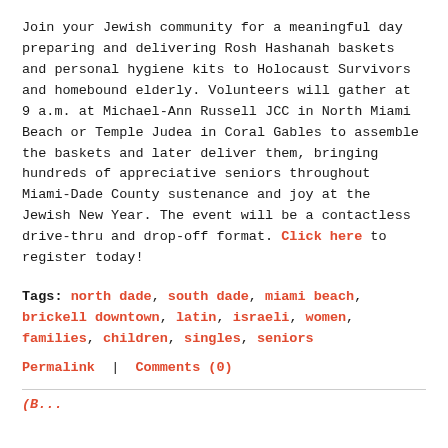Join your Jewish community for a meaningful day preparing and delivering Rosh Hashanah baskets and personal hygiene kits to Holocaust Survivors and homebound elderly. Volunteers will gather at 9 a.m. at Michael-Ann Russell JCC in North Miami Beach or Temple Judea in Coral Gables to assemble the baskets and later deliver them, bringing hundreds of appreciative seniors throughout Miami-Dade County sustenance and joy at the Jewish New Year. The event will be a contactless drive-thru and drop-off format. Click here to register today!
Tags: north dade, south dade, miami beach, brickell downtown, latin, israeli, women, families, children, singles, seniors
Permalink | Comments (0)
(partial red italic text at bottom)